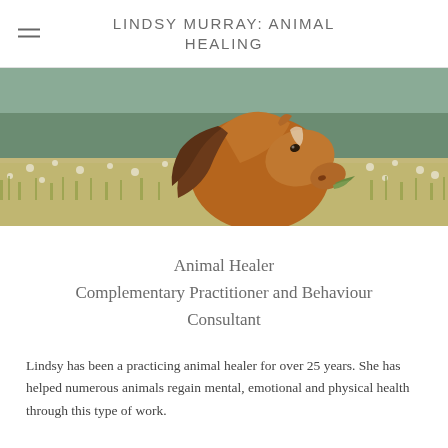LINDSY MURRAY: ANIMAL HEALING
[Figure (photo): A brown/chestnut horse grazing in a field of wildflowers and tall grass, close-up view of head and neck]
Animal Healer
Complementary Practitioner and Behaviour Consultant
Lindsy has been a practicing animal healer for over 25 years. She has helped numerous animals regain mental, emotional and physical health through this type of work.